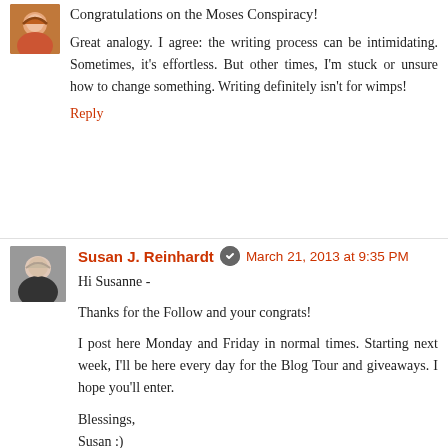Congratulations on the Moses Conspiracy!
Great analogy. I agree: the writing process can be intimidating. Sometimes, it's effortless. But other times, I'm stuck or unsure how to change something. Writing definitely isn't for wimps!
Reply
Susan J. Reinhardt  March 21, 2013 at 9:35 PM
Hi Susanne -
Thanks for the Follow and your congrats!
I post here Monday and Friday in normal times. Starting next week, I'll be here every day for the Blog Tour and giveaways. I hope you'll enter.
Blessings,
Susan :)
Reply